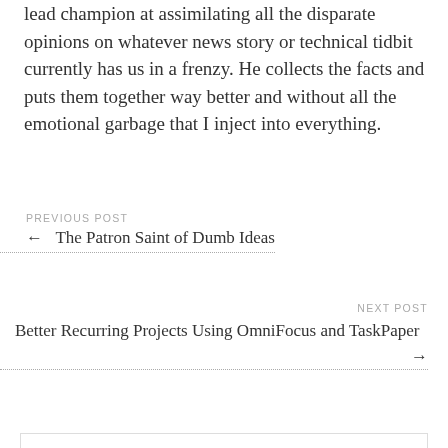lead champion at assimilating all the disparate opinions on whatever news story or technical tidbit currently has us in a frenzy. He collects the facts and puts them together way better and without all the emotional garbage that I inject into everything.
PREVIOUS POST
← The Patron Saint of Dumb Ideas
NEXT POST
Better Recurring Projects Using OmniFocus and TaskPaper →